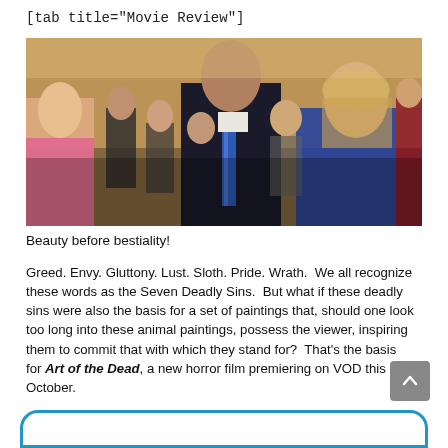[tab title="Movie Review"]
[Figure (photo): A man in a dark suit with a blue striped tie and a blonde woman in a blue dress stand in a crowded art gallery setting. Multiple people are visible in the background.]
Beauty before bestiality!
Greed. Envy. Gluttony. Lust. Sloth. Pride. Wrath.  We all recognize these words as the Seven Deadly Sins.  But what if these deadly sins were also the basis for a set of paintings that, should one look too long into these animal paintings, possess the viewer, inspiring them to commit that with which they stand for?  That's the basis for Art of the Dead, a new horror film premiering on VOD this October.